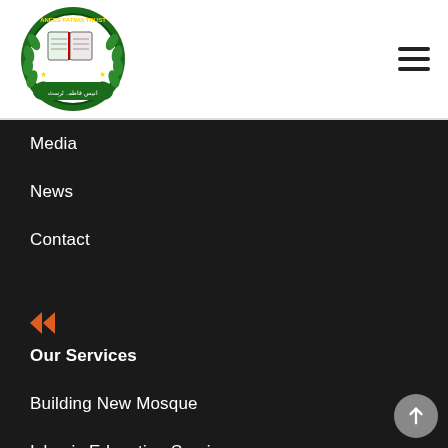[Figure (logo): Anees Fatima Trust circular logo with green laurel wreath border, open book in center with Arabic text, on white background]
[Figure (other): Hamburger menu icon with three horizontal lines]
Media
News
Contact
[Figure (other): Orange/red double arrow/play icon]
Our Services
Building New Mosque
Islamic Education Services
Marriage of Destitute Service
[Figure (other): Scroll to top button with upward arrow]